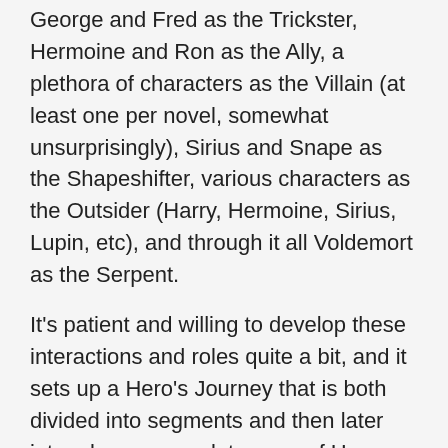George and Fred as the Trickster, Hermoine and Ron as the Ally, a plethora of characters as the Villain (at least one per novel, somewhat unsurprisingly), Sirius and Snape as the Shapeshifter, various characters as the Outsider (Harry, Hermoine, Sirius, Lupin, etc), and through it all Voldemort as the Serpent.
It's patient and willing to develop these interactions and roles quite a bit, and it sets up a Hero's Journey that is both divided into segments and then later into a longer complete saga of Harry growing up.
I know a lot of people have expressed concern about the darkness of the universe, but I think that this is actually a strength of the Harry Potter franchise. Children know that there are things in the world that they cannot see if they are sheltered from them (and if they are not sheltered, then there is no harm in what is contained in Harry Potter to do so with) but to the extent they can discuss these